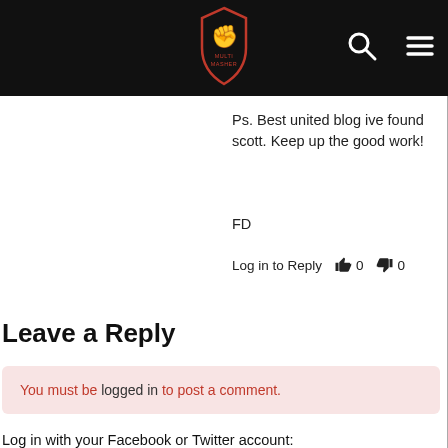[Figure (logo): Website navigation bar with logo (shield with fist icon and text 'MULTI MASHER'), search icon, and hamburger menu icon on dark background]
Ps. Best united blog ive found scott. Keep up the good work!
FD
Log in to Reply  👍 0  👎 0
Leave a Reply
You must be logged in to post a comment.
Log in with your Facebook or Twitter account:
[Figure (other): Social login icons: Facebook (blue F), Google+ (colorful G+), Twitter (blue bird)]